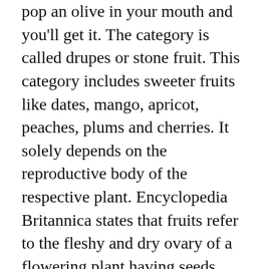pop an olive in your mouth and you'll get it. The category is called drupes or stone fruit. This category includes sweeter fruits like dates, mango, apricot, peaches, plums and cherries. It solely depends on the reproductive body of the respective plant. Encyclopedia Britannica states that fruits refer to the fleshy and dry ovary of a flowering plant having seeds within.
They also state that there is no particular part of a plant which could be termed as vegetable. Any part of a plant which is edible could be considered as a vegetable. The roots, leaves, stem; all of this could be a vegetable. Lettuce is leaf, drumsticks are the stem and carrots are the root of the respective plants. Actually, the way of consumption determines if it is a fruit or a vegetable. Vegetables are those which are consumed cooked and as a part of our